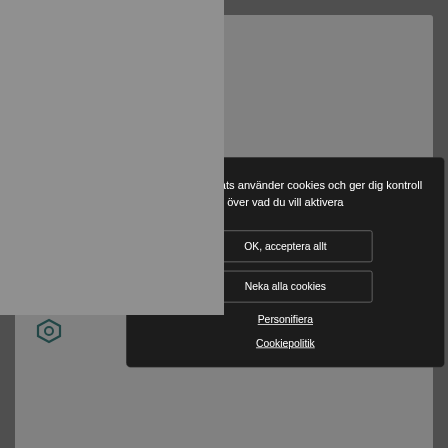Gå vidare
Fundera på att söka i samlingen 'Andra...
10 resultat
sultat
059
sultat
[Figure (screenshot): Cookie consent dialog overlay on a library website with dark background modal containing Swedish text]
Denna webbplats använder cookies och ger dig kontroll över vad du vill aktivera
OK, acceptera allt
Neka alla cookies
Personifiera
Cookiepolitik
VÅR WEBSIDA
VÅRA MOBILAPPAR